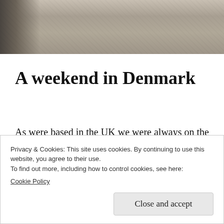[Figure (photo): Black and white or desaturated photograph strip showing a textured surface (possibly a road or ground) with the lower portion of a person visible on the left side.]
A weekend in Denmark
As were based in the UK we were always on the lookout for cheap deals to travel more of Europe. We found a cheap flight (around $15 usd) to Copenhagen. So we jumped at the chance to visit the capital of Denmark.
Privacy & Cookies: This site uses cookies. By continuing to use this website, you agree to their use.
To find out more, including how to control cookies, see here:
Cookie Policy
Close and accept